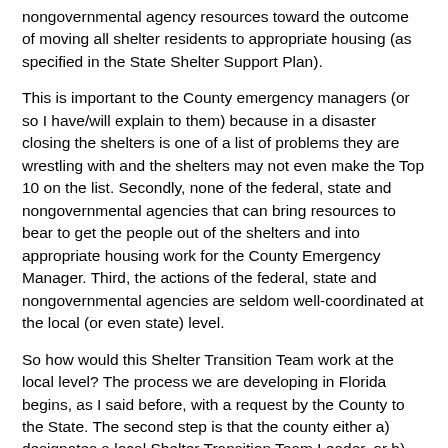nongovernmental agency resources toward the outcome of moving all shelter residents to appropriate housing (as specified in the State Shelter Support Plan).
This is important to the County emergency managers (or so I have/will explain to them) because in a disaster closing the shelters is one of a list of problems they are wrestling with and the shelters may not even make the Top 10 on the list. Secondly, none of the federal, state and nongovernmental agencies that can bring resources to bear to get the people out of the shelters and into appropriate housing work for the County Emergency Manager. Third, the actions of the federal, state and nongovernmental agencies are seldom well-coordinated at the local (or even state) level.
So how would this Shelter Transition Team work at the local level? The process we are developing in Florida begins, as I said before, with a request by the County to the State. The second step is that the county either a) designates a local Shelter Transition Team Leader, or b) approves a local representative nominated by one of the agencies in the State Shelter Support Plan to be the Team Leader.